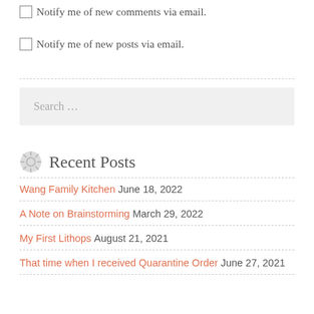Notify me of new comments via email.
Notify me of new posts via email.
Search …
Recent Posts
Wang Family Kitchen June 18, 2022
A Note on Brainstorming March 29, 2022
My First Lithops August 21, 2021
That time when I received Quarantine Order June 27, 2021